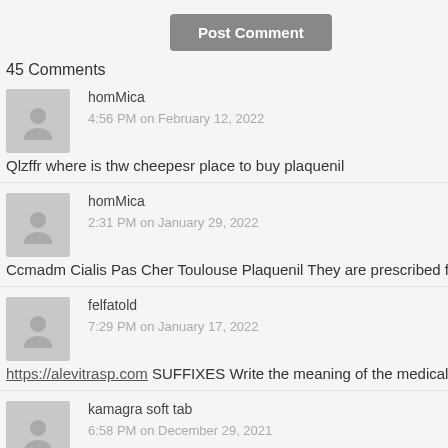Post Comment
45 Comments
homMica
4:56 PM on February 12, 2022
Qlzffr where is thw cheepesr place to buy plaquenil
homMica
2:31 PM on January 29, 2022
Ccmadm Cialis Pas Cher Toulouse Plaquenil They are prescribed for insomnia a
felfatold
7:29 PM on January 17, 2022
https://alevitrasp.com SUFFIXES Write the meaning of the medical term in the
kamagra soft tab
6:58 PM on December 29, 2021